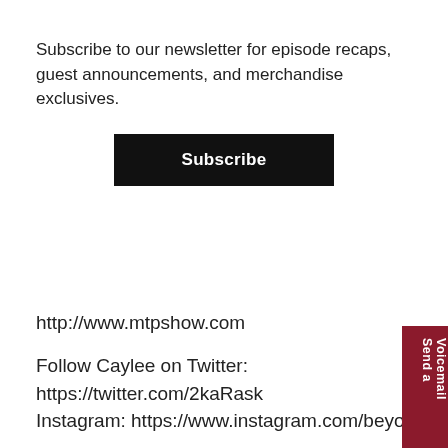Subscribe to our newsletter for episode recaps, guest announcements, and merchandise exclusives.
Subscribe
http://www.mtpshow.com
Follow Caylee on Twitter: https://twitter.com/2kaRask
Instagram: https://www.instagram.com/beyonca
On this episode we are joined by, Caylee Allard, Contributor at Fansided for Causeway Crowd as do a look back at the end of the Boston Bruins 2020-2021 NHL Season, examine the Bruins early exit, re-examine the Bruins selection of three first-round